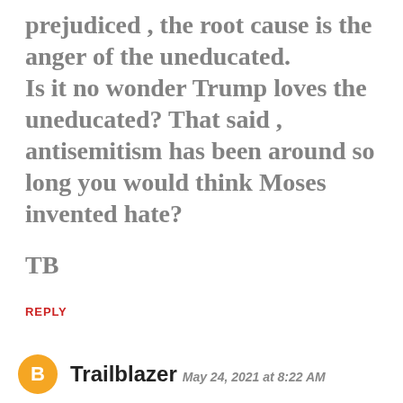prejudiced , the root cause is the anger of the uneducated. Is it no wonder Trump loves the uneducated? That said , antisemitism has been around so long you would think Moses invented hate?
TB
REPLY
Trailblazer May 24, 2021 at 8:22 AM